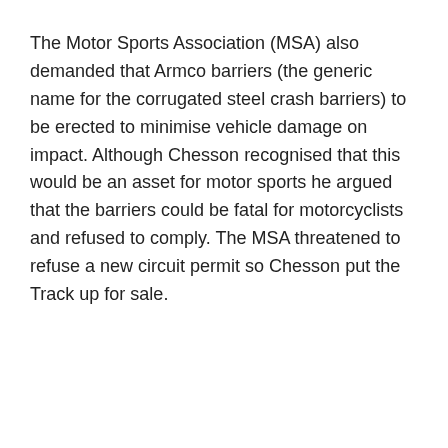The Motor Sports Association (MSA) also demanded that Armco barriers (the generic name for the corrugated steel crash barriers) to be erected to minimise vehicle damage on impact. Although Chesson recognised that this would be an asset for motor sports he argued that the barriers could be fatal for motorcyclists and refused to comply. The MSA threatened to refuse a new circuit permit so Chesson put the Track up for sale.